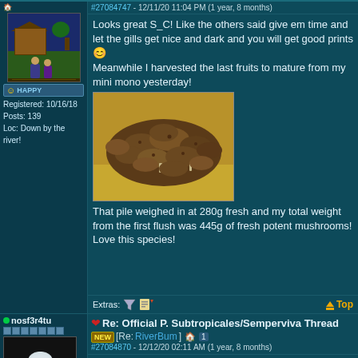#27084747 - 12/11/20 11:04 PM (1 year, 8 months)
[Figure (illustration): Pixel-art avatar showing a hut scene with trees and characters]
HAPPY
Registered: 10/16/18
Posts: 139
Loc: Down by the river!
Looks great S_C! Like the others said give em time and let the gills get nice and dark and you will get good prints 🙂 Meanwhile I harvested the last fruits to mature from my mini mono yesterday!
[Figure (photo): Pile of brown mushrooms on a wooden surface, harvested flush]
That pile weighed in at 280g fresh and my total weight from the first flush was 445g of fresh potent mushrooms! Love this species!
Extras:
Top
nosf3r4tu
❤ Re: Official P. Subtropicales/Semperviva Thread NEW [Re: RiverBum] 🏠 1
#27084870 - 12/12/20 02:11 AM (1 year, 8 months)
Quote: